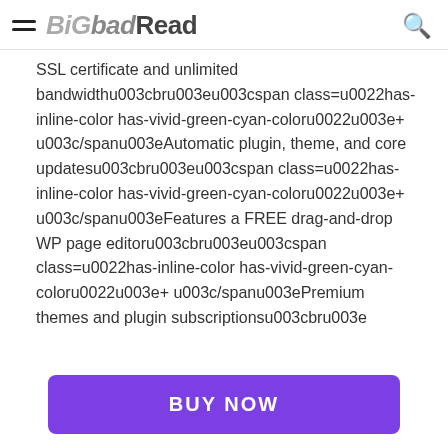BiGbadRead
SSL certificate and unlimited bandwidthu003cbru003eu003cspan class=u0022has-inline-color has-vivid-green-cyan-coloru0022u003e+ u003c/spanu003eAutomatic plugin, theme, and core updatesu003cbru003eu003cspan class=u0022has-inline-color has-vivid-green-cyan-coloru0022u003e+ u003c/spanu003eFeatures a FREE drag-and-drop WP page editoru003cbru003eu003cspan class=u0022has-inline-color has-vivid-green-cyan-coloru0022u003e+ u003c/spanu003ePremium themes and plugin subscriptionsu003cbru003e
BUY NOW